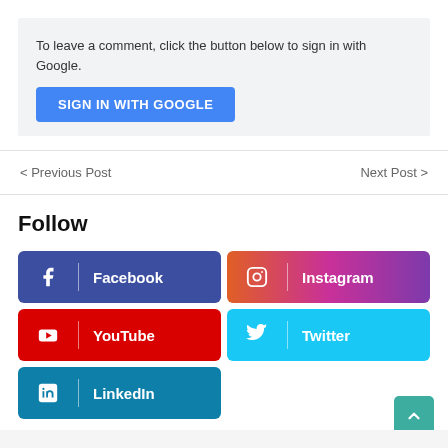To leave a comment, click the button below to sign in with Google.
[Figure (other): SIGN IN WITH GOOGLE button — blue rounded rectangle with white uppercase text]
< Previous Post
Next Post >
Follow
[Figure (other): Social media follow buttons: Facebook (dark blue), Instagram (gradient pink-purple), YouTube (red), Twitter (light blue), LinkedIn (teal)]